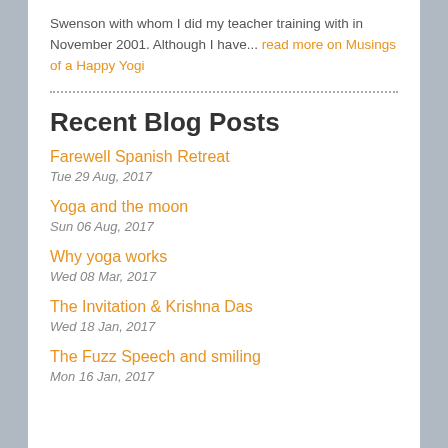Swenson with whom I did my teacher training with in November 2001. Although I have... read more on Musings of a Happy Yogi
Recent Blog Posts
Farewell Spanish Retreat
Tue 29 Aug, 2017
Yoga and the moon
Sun 06 Aug, 2017
Why yoga works
Wed 08 Mar, 2017
The Invitation & Krishna Das
Wed 18 Jan, 2017
The Fuzz Speech and smiling
Mon 16 Jan, 2017